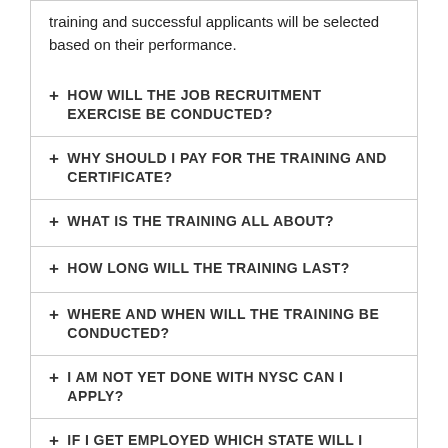training and successful applicants will be selected based on their performance.
HOW WILL THE JOB RECRUITMENT EXERCISE BE CONDUCTED?
WHY SHOULD I PAY FOR THE TRAINING AND CERTIFICATE?
WHAT IS THE TRAINING ALL ABOUT?
HOW LONG WILL THE TRAINING LAST?
WHERE AND WHEN WILL THE TRAINING BE CONDUCTED?
I AM NOT YET DONE WITH NYSC CAN I APPLY?
IF I GET EMPLOYED WHICH STATE WILL I WORK?
JOB POSITIONS/ TITLE
RELIANCE COOPERATIVE SOCIETY LTD